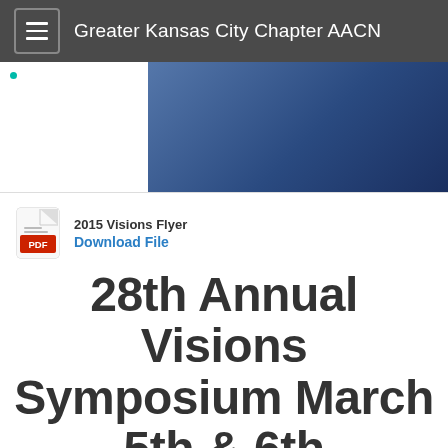Greater Kansas City Chapter AACN
[Figure (photo): Partial website screenshot showing a banner image area with a white left panel containing a teal dot and a dark blue image on the right side]
2015 Visions Flyer
Download File
28th Annual Visions Symposium March 5th & 6th